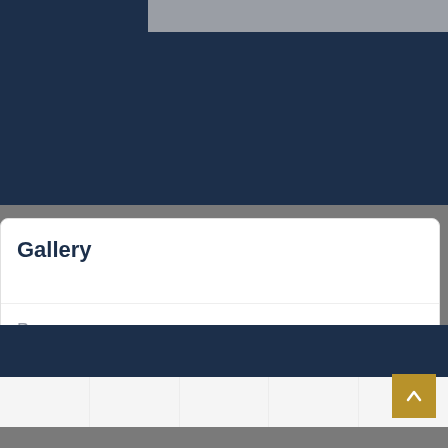[Figure (screenshot): Top dark navy bar with a grey image placeholder strip at the top]
Gallery
Process
Videos
[Figure (other): Gold scroll-to-top button with upward arrow]